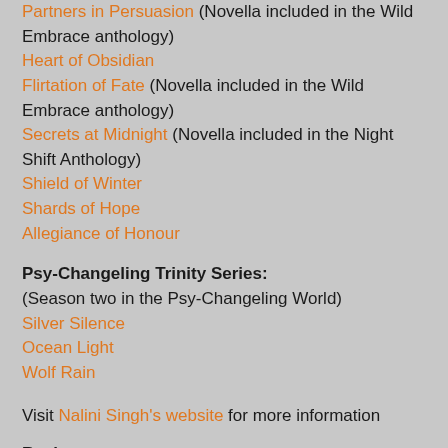Partners in Persuasion (Novella included in the Wild Embrace anthology)
Heart of Obsidian
Flirtation of Fate (Novella included in the Wild Embrace anthology)
Secrets at Midnight (Novella included in the Night Shift Anthology)
Shield of Winter
Shards of Hope
Allegiance of Honour
Psy-Changeling Trinity Series:
(Season two in the Psy-Changeling World)
Silver Silence
Ocean Light
Wolf Rain
Visit Nalini Singh's website for more information
Review:
Faith is a rare F-Psy, someone with the ability to see the future, her visions have used to predict the stock market